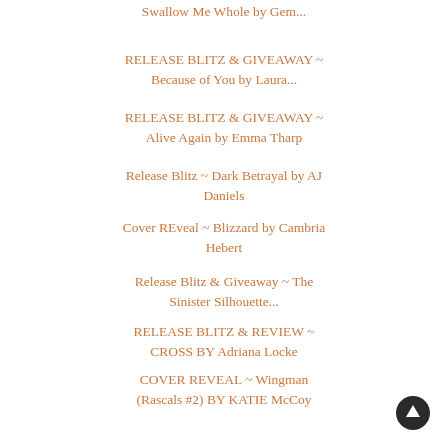Swallow Me Whole by Gem...
RELEASE BLITZ & GIVEAWAY ~ Because of You by Laura...
RELEASE BLITZ & GIVEAWAY ~ Alive Again by Emma Tharp
Release Blitz ~ Dark Betrayal by AJ Daniels
Cover REveal ~ Blizzard by Cambria Hebert
Release Blitz & Giveaway ~ The Sinister Silhouette...
RELEASE BLITZ & REVIEW ~ CROSS BY Adriana Locke
COVER REVEAL ~ Wingman (Rascals #2) BY KATIE McCoy
Release BLITZ & GIVEAWAY ~ Every Promise You Made ...
Cover REVEAL ~ Roped by Remy Blake
COVER REVEAL ~ Gruff Ass In Love